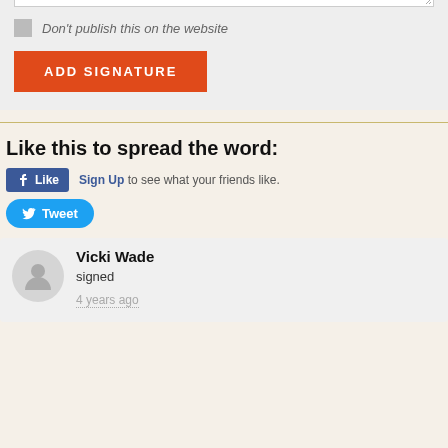[Figure (screenshot): Checkbox with label 'Don't publish this on the website' and an orange 'ADD SIGNATURE' button on a grey background]
Don't publish this on the website
Like this to spread the word:
[Figure (screenshot): Facebook Like button with 'Sign Up to see what your friends like.' text]
[Figure (screenshot): Twitter Tweet button]
Vicki Wade
signed
4 years ago